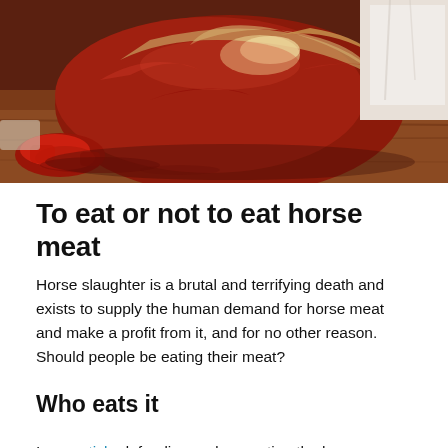[Figure (photo): A large raw cut of red meat (likely horse meat) on a wooden surface, with a person in the background wearing a white shirt.]
To eat or not to eat horse meat
Horse slaughter is a brutal and terrifying death and exists to supply the human demand for horse meat and make a profit from it, and for no other reason. Should people be eating their meat?
Who eats it
In an article defending and promoting the human consumption of horse meat, AG Daily recently wrote: